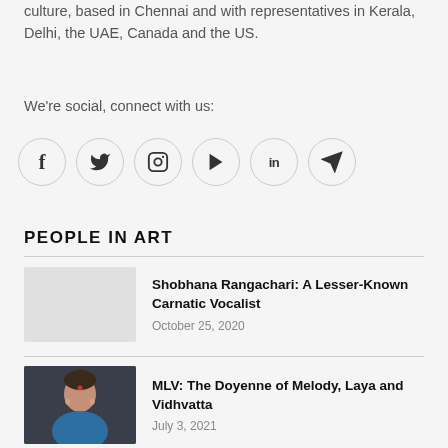culture, based in Chennai and with representatives in Kerala, Delhi, the UAE, Canada and the US.
We're social, connect with us:
[Figure (illustration): Six social media icon circles: Facebook (f), Twitter (bird), Instagram (camera), YouTube (play), LinkedIn (in), Telegram (paper plane)]
PEOPLE IN ART
[Figure (photo): Placeholder thumbnail for Shobhana Rangachari article]
Shobhana Rangachari: A Lesser-Known Carnatic Vocalist
October 25, 2020
[Figure (photo): Portrait photo of MLV, a woman in blue with a red bindi]
MLV: The Doyenne of Melody, Laya and Vidhvatta
July 3, 2021